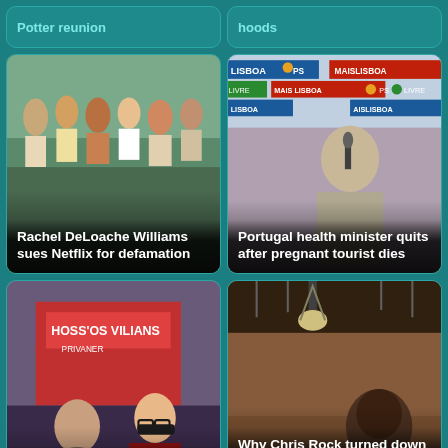Potter reunion
hoods
[Figure (photo): Group of young people standing together outdoors, news card photo]
Rachel DeLoache Williams sues Netflix for defamation
[Figure (photo): Woman speaking at a podium with Lisboa PS Mais Lisboa banners in background]
Portugal health minister quits after pregnant tourist dies
[Figure (photo): Two women outside a theater/cinema, one with red hair and glasses]
Rachel DeLoache Williams sues Netflix for defamation
[Figure (photo): Chris Rock in a recording studio setting]
Why Chris Rock turned down hosting the 2023 Academy Awards